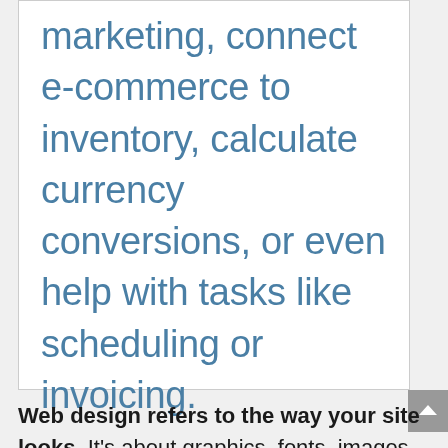marketing, connect e-commerce to inventory, calculate currency conversions, or even help with tasks like scheduling or invoicing.
Web design refers to the way your site looks. It's about graphics, fonts, images, and other visual elements. Web